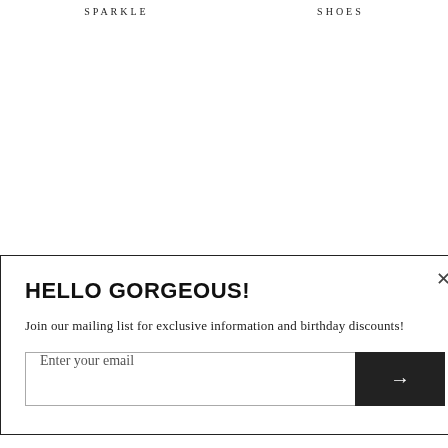SPARKLE    SHOES
SHACKETS    SEATTLE SKYLINE COLLECTION
HELLO GORGEOUS!
Join our mailing list for exclusive information and birthday discounts!
Enter your email